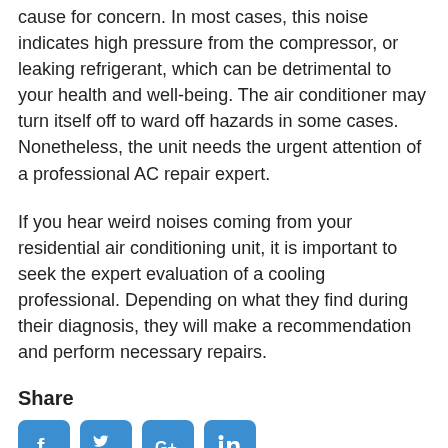cause for concern. In most cases, this noise indicates high pressure from the compressor, or leaking refrigerant, which can be detrimental to your health and well-being. The air conditioner may turn itself off to ward off hazards in some cases. Nonetheless, the unit needs the urgent attention of a professional AC repair expert.
If you hear weird noises coming from your residential air conditioning unit, it is important to seek the expert evaluation of a cooling professional. Depending on what they find during their diagnosis, they will make a recommendation and perform necessary repairs.
Share
[Figure (infographic): Four social media sharing icons in blue rounded squares: Facebook, Twitter, Google+, LinkedIn]